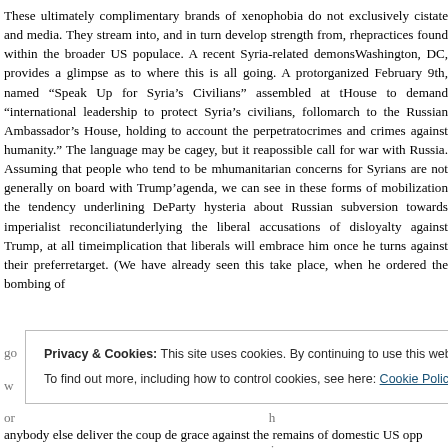These ultimately complimentary brands of xenophobia do not exclusively ci... state and media. They stream into, and in turn develop strength from, rhe... practices found within the broader US populace. A recent Syria-related demons... Washington, DC, provides a glimpse as to where this is all going. A prot... organized February 9th, named "Speak Up for Syria's Civilians" assembled at t... House to demand "international leadership to protect Syria's civilians, follo... march to the Russian Ambassador's House, holding to account the perpetrato... crimes and crimes against humanity." The language may be cagey, but it rea... possible call for war with Russia. Assuming that people who tend to be m... humanitarian concerns for Syrians are not generally on board with Trump'... agenda, we can see in these forms of mobilization the tendency underlining De... Party hysteria about Russian subversion towards imperialist reconciliat... underlying the liberal accusations of disloyalty against Trump, at all time... implication that liberals will embrace him once he turns against their preferre... target. (We have already seen this take place, when he ordered the bombing of...
Privacy & Cookies: This site uses cookies. By continuing to use this website, you agree to their use.
To find out more, including how to control cookies, see here: Cookie Policy
anybody else deliver the coup de grace against the remains of domestic US opp...